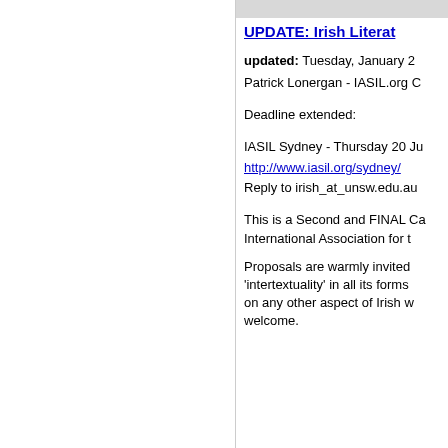UPDATE: Irish Literat
updated: Tuesday, January 2
Patrick Lonergan - IASIL.org C
Deadline extended:
IASIL Sydney - Thursday 20 Ju
http://www.iasil.org/sydney/
Reply to irish_at_unsw.edu.au
This is a Second and FINAL Ca International Association for t
Proposals are warmly invited 'intertextuality' in all its forms on any other aspect of Irish w welcome.